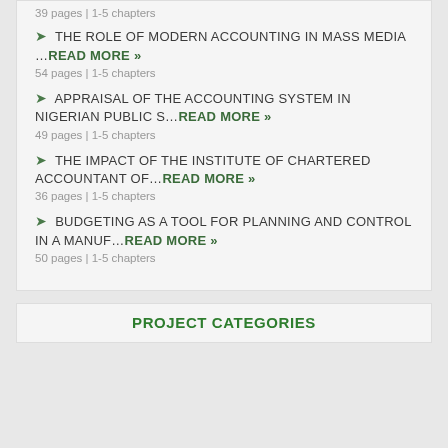39 pages | 1-5 chapters
THE ROLE OF MODERN ACCOUNTING IN MASS MEDIA …Read More »
54 pages | 1-5 chapters
APPRAISAL OF THE ACCOUNTING SYSTEM IN NIGERIAN PUBLIC S…Read More »
49 pages | 1-5 chapters
THE IMPACT OF THE INSTITUTE OF CHARTERED ACCOUNTANT OF…Read More »
36 pages | 1-5 chapters
BUDGETING AS A TOOL FOR PLANNING AND CONTROL IN A MANUF…Read More »
50 pages | 1-5 chapters
PROJECT CATEGORIES